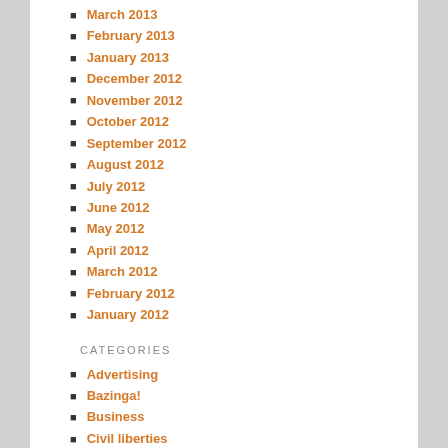March 2013
February 2013
January 2013
December 2012
November 2012
October 2012
September 2012
August 2012
July 2012
June 2012
May 2012
April 2012
March 2012
February 2012
January 2012
CATEGORIES
Advertising
Bazinga!
Business
Civil liberties